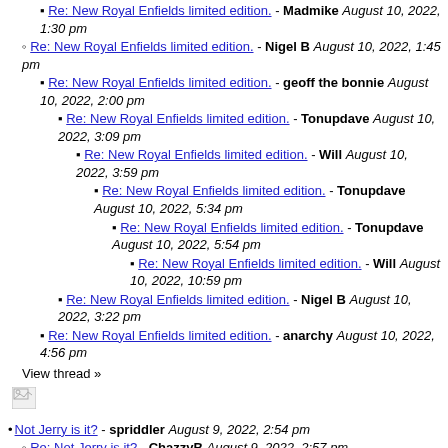Re: New Royal Enfields limited edition. - Madmike August 10, 2022, 1:30 pm
Re: New Royal Enfields limited edition. - Nigel B August 10, 2022, 1:45 pm
Re: New Royal Enfields limited edition. - geoff the bonnie August 10, 2022, 2:00 pm
Re: New Royal Enfields limited edition. - Tonupdave August 10, 2022, 3:09 pm
Re: New Royal Enfields limited edition. - Will August 10, 2022, 3:59 pm
Re: New Royal Enfields limited edition. - Tonupdave August 10, 2022, 5:34 pm
Re: New Royal Enfields limited edition. - Tonupdave August 10, 2022, 5:54 pm
Re: New Royal Enfields limited edition. - Will August 10, 2022, 10:59 pm
Re: New Royal Enfields limited edition. - Nigel B August 10, 2022, 3:22 pm
Re: New Royal Enfields limited edition. - anarchy August 10, 2022, 4:56 pm
View thread »
[Figure (illustration): Broken image icon]
Not Jerry is it? - spriddler August 9, 2022, 2:54 pm
Re: Not Jerry is it? - ChazzyB August 9, 2022, 2:57 pm
Re: Not Jerry is it? - Andy C August 9, 2022, 3:38 pm
Re: Not Jerry is it? - Will August 9, 2022, 4:23 pm
Re: Not Jerry is it? - JERRY August 9, 2022, 8:47 pm